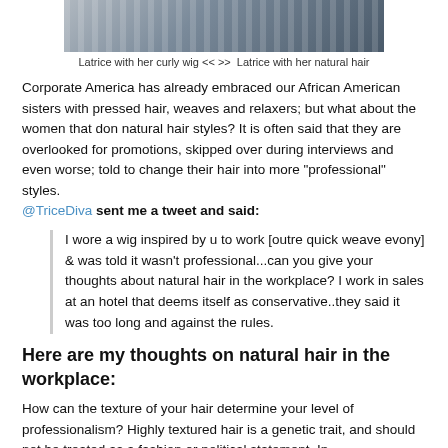[Figure (photo): Two side-by-side photos of Latrice, one with her curly wig and one with her natural hair]
Latrice with her curly wig  << >>  Latrice with her natural hair
Corporate America has already embraced our African American sisters with pressed hair, weaves and relaxers; but what about the women that don natural hair styles? It is often said that they are overlooked for promotions, skipped over during interviews and even worse; told to change their hair into more "professional" styles. @TriceDiva sent me a tweet and said:
I wore a wig inspired by u to work [outre quick weave evony] & was told it wasn't professional...can you give your thoughts about natural hair in the workplace? I work in sales at an hotel that deems itself as conservative..they said it was too long and against the rules.
Here are my thoughts on natural hair in the workplace:
How can the texture of your hair determine your level of professionalism? Highly textured hair is a genetic trait, and should not be treated as a fashion or political statement. In